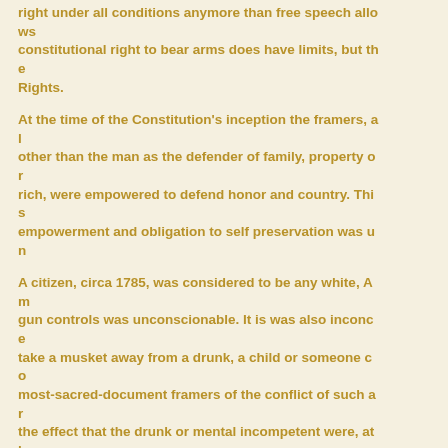right under all conditions anymore than free speech allows constitutional right to bear arms does have limits, but the Rights.
At the time of the Constitution's inception the framers, al other than the man as the defender of family, property or rich, were empowered to defend honor and country. This empowerment and obligation to self preservation was un
A citizen, circa 1785, was considered to be any white, Am gun controls was unconscionable. It is was also inconcer take a musket away from a drunk, a child or someone co most-sacred-document framers of the conflict of such a r the effect that the drunk or mental incompetent were, at l a felon had forsaken his citizenship.
With the ratification of the 13th, 14th and 19th Amendmer citizens. Arms possession was, AND STILL IS, the signat assuredly not mentally inept, a child, a felon, or a substa
Violating the rights of others is cause to restrict gun righ to possess firearms most assuredly creates a substantia suburbanites to mass weapons of mass destruction such abiding, bona fide citizen from carrying a firearm that is c available to a snatch-and-grab thief, does not present a s
Constitutional rights are only such when they don't invi